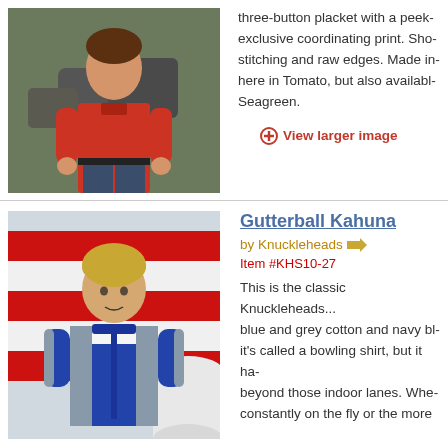[Figure (photo): Young boy in red shirt standing outdoors with rocks in background]
three-button placket with a peek... exclusive coordinating print. Sho... stitching and raw edges. Made in... here in Tomato, but also availabl... Seagreen.
View larger image
[Figure (photo): Young blonde boy wearing blue and grey bowling shirt standing outdoors in front of red and white striped surface]
Gutterball Kahuna
by Knuckleheads
Item #KHS10-27
This is the classic Knuckleheads... blue and grey cotton and navy bl... it's called a bowling shirt, but it ha... beyond those indoor lanes. Whe... constantly on the fly or the more... shirt works, whatever his persona...